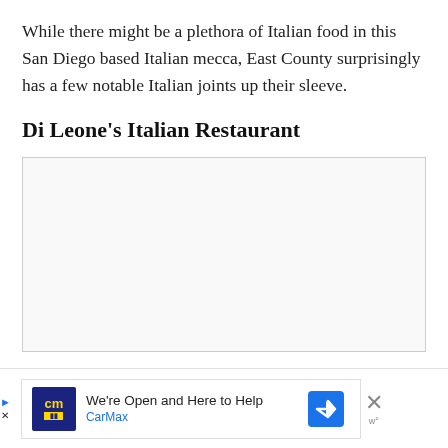While there might be a plethora of Italian food in this San Diego based Italian mecca, East County surprisingly has a few notable Italian joints up their sleeve.
Di Leone's Italian Restaurant
[Figure (photo): A large mostly blank/white image placeholder for Di Leone's Italian Restaurant]
[Figure (other): CarMax advertisement banner: 'We're Open and Here to Help' with CarMax logo, a blue directional arrow icon, a close button (X), and 'w°' attribution mark]